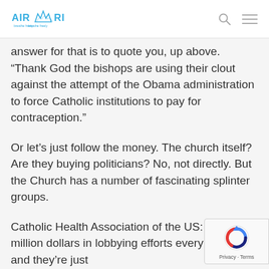AIRMARIA
answer for that is to quote you, up above. “Thank God the bishops are using their clout against the attempt of the Obama administration to force Catholic institutions to pay for contraception.”
Or let’s just follow the money. The church itself? Are they buying politicians? No, not directly. But the Church has a number of fascinating splinter groups.
Catholic Health Association of the US: Half a million dollars in lobbying efforts every year – and they’re just